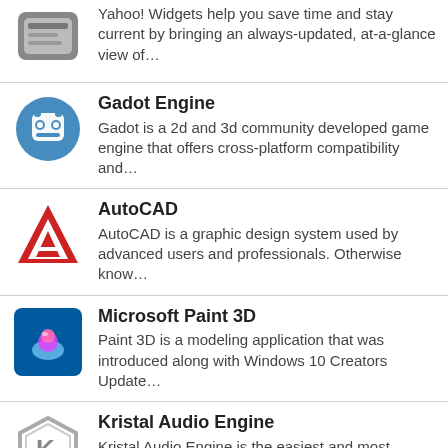Yahoo! Widgets help you save time and stay current by bringing an always-updated, at-a-glance view of…
Gadot Engine
Gadot is a 2d and 3d community developed game engine that offers cross-platform compatibility and…
AutoCAD
AutoCAD is a graphic design system used by advanced users and professionals. Otherwise know…
Microsoft Paint 3D
Paint 3D is a modeling application that was introduced along with Windows 10 Creators Update…
Kristal Audio Engine
Kristal Audio Engine is the easiest and most versatile digital audio workstation on the market. Its basic…
Manage Engine Free Windows Admin Tools
Manage Engine Free Windows Admin Tools contain a set of 14 enhanced tools which is essential for ever…
3D zoom development…